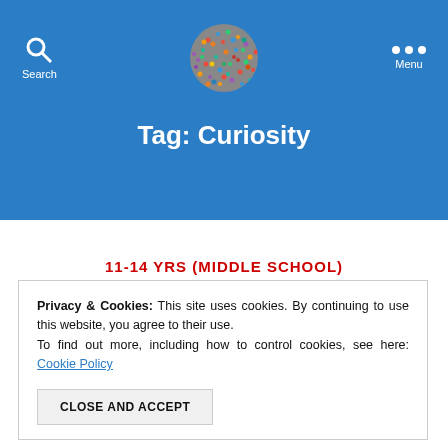Search | [Logo] | Menu
Tag: Curiosity
11-14 YRS (MIDDLE SCHOOL)
Privacy & Cookies: This site uses cookies. By continuing to use this website, you agree to their use.
To find out more, including how to control cookies, see here: Cookie Policy
CLOSE AND ACCEPT